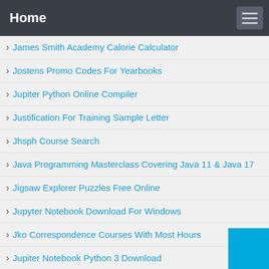Home
James Smith Academy Calorie Calculator
Jostens Promo Codes For Yearbooks
Jupiter Python Online Compiler
Justification For Training Sample Letter
Jhsph Course Search
Java Programming Masterclass Covering Java 11 & Java 17
Jigsaw Explorer Puzzles Free Online
Jupyter Notebook Download For Windows
Jko Correspondence Courses With Most Hours
Jupiter Notebook Python 3 Download
Joann Fabrics Sewing Classes Schedule
Jko Concussion Training For Service Members Answers